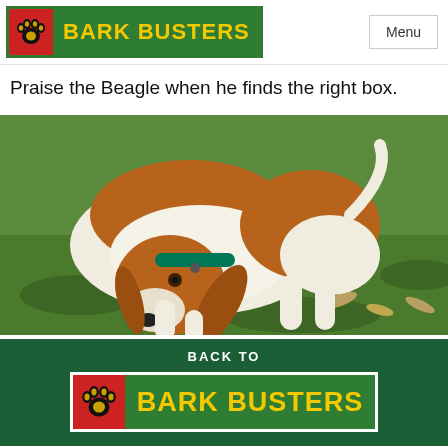[Figure (logo): Bark Busters logo with paw print on red background and yellow text on green background, with Menu button on right]
Praise the Beagle when he finds the right box.
[Figure (photo): A Beagle dog with a green collar sniffing the grass outdoors, brown and white coloring, head down to the ground]
BACK TO BARK BUSTERS